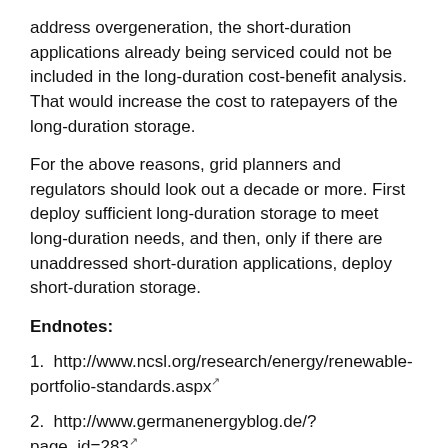address overgeneration, the short-duration applications already being serviced could not be included in the long-duration cost-benefit analysis. That would increase the cost to ratepayers of the long-duration storage.
For the above reasons, grid planners and regulators should look out a decade or more. First deploy sufficient long-duration storage to meet long-duration needs, and then, only if there are unaddressed short-duration applications, deploy short-duration storage.
Endnotes:
1. http://www.ncsl.org/research/energy/renewable-portfolio-standards.aspx
2. http://www.germanenergyblog.de/?page_id=283
3. http://www.greentechmedia.com/articles/read/Utility-Scale-Solar-Reaches-...
4. https://legiscan.com/CA/bill/SB350/2015